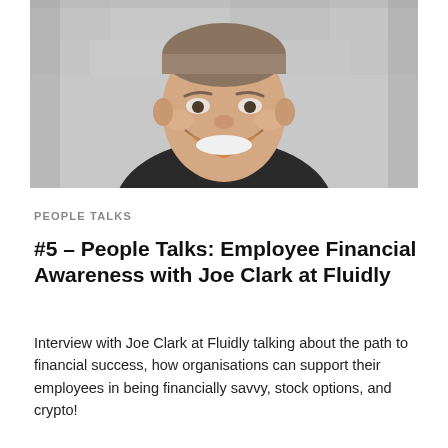[Figure (photo): Black and white portrait photo of a smiling man (Joe Clark) against a blurred brick wall background, wearing a dark t-shirt.]
PEOPLE TALKS
#5 – People Talks: Employee Financial Awareness with Joe Clark at Fluidly
Interview with Joe Clark at Fluidly talking about the path to financial success, how organisations can support their employees in being financially savvy, stock options, and crypto!